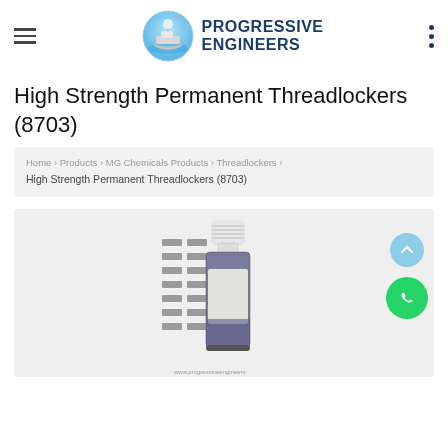Progressive Engineers
High Strength Permanent Threadlockers (8703)
Home › Products › MG Chemicals Products › Threadlockers › High Strength Permanent Threadlockers (8703)
[Figure (photo): Product photo of High Strength Permanent Threadlocker 8703 bottle with white cap, showing a small purple liquid container with a barcode label, on a light grey background.]